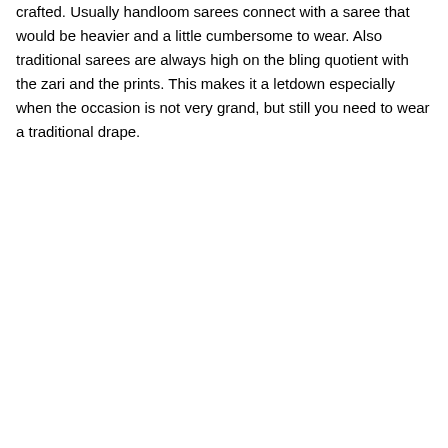crafted. Usually handloom sarees connect with a saree that would be heavier and a little cumbersome to wear. Also traditional sarees are always high on the bling quotient with the zari and the prints. This makes it a letdown especially when the occasion is not very grand, but still you need to wear a traditional drape.